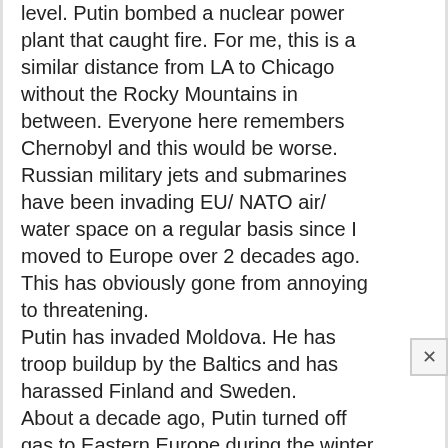level. Putin bombed a nuclear power plant that caught fire. For me, this is a similar distance from LA to Chicago without the Rocky Mountains in between. Everyone here remembers Chernobyl and this would be worse. Russian military jets and submarines have been invading EU/ NATO air/ water space on a regular basis since I moved to Europe over 2 decades ago. This has obviously gone from annoying to threatening.
Putin has invaded Moldova. He has troop buildup by the Baltics and has harassed Finland and Sweden.
About a decade ago, Putin turned off gas to Eastern Europe during the winter and thousands of people died due to the cold. Parts of Europe depend on that gas, including countries in the EU/ NATO.
Ukraine/ Russia is the world's bread